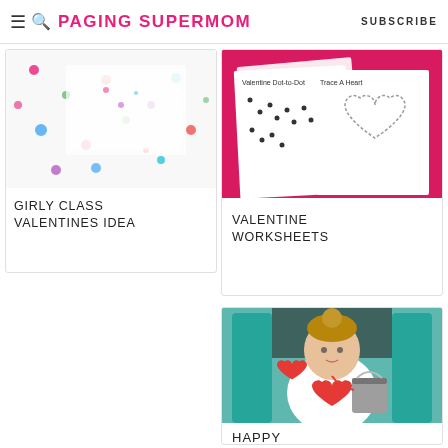≡ 🔍 PAGING SUPERMOM  SUBSCRIBE
[Figure (photo): Colorful confetti dots scattered on white paper background for girly class valentines]
GIRLY CLASS VALENTINES IDEA
[Figure (photo): Valentine worksheets including a dot-to-dot and a trace-a-heart printable on pink background]
VALENTINE WORKSHEETS
[Figure (photo): Young toddler child sitting on a teal chair holding a metal bucket with a red heart decoration, wearing a white shirt]
HAPPY